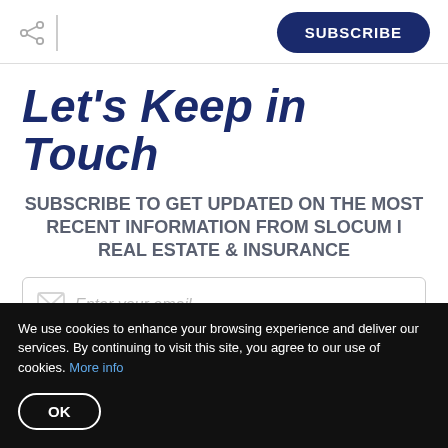SUBSCRIBE
Let's Keep in Touch
SUBSCRIBE TO GET UPDATED ON THE MOST RECENT INFORMATION FROM SLOCUM I REAL ESTATE & INSURANCE
Enter your email
We use cookies to enhance your browsing experience and deliver our services. By continuing to visit this site, you agree to our use of cookies. More info
OK